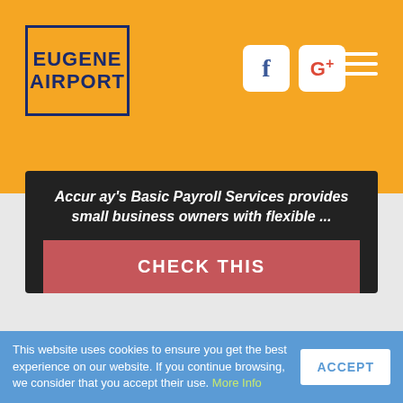Eugene Airport
Accur ay's Basic Payroll Services provides small business owners with flexible ...
CHECK THIS
Payroll / Payroll/Benefits - St. Helens School District
This website uses cookies to ensure you get the best experience on our website. If you continue browsing, we consider that you accept their use. More Info